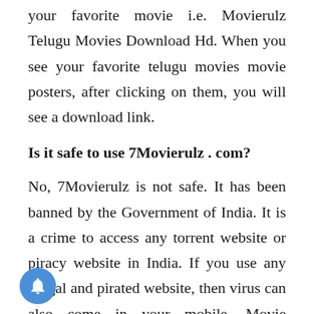your favorite movie i.e. Movierulz Telugu Movies Download Hd. When you see your favorite telugu movies movie posters, after clicking on them, you will see a download link.
Is it safe to use 7Movierulz . com?
No, 7Movierulz is not safe. It has been banned by the Government of India. It is a crime to access any torrent website or piracy website in India. If you use any illegal and pirated website, then virus can also come in your mobile. Movie producers suffer a lot from such a website.